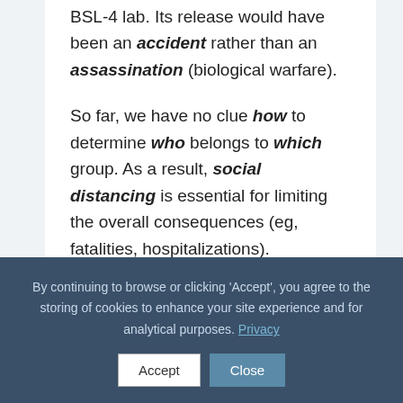BSL-4 lab. Its release would have been an accident rather than an assassination (biological warfare).
So far, we have no clue how to determine who belongs to which group. As a result, social distancing is essential for limiting the overall consequences (eg, fatalities, hospitalizations).
A major disadvantage of this approach is
By continuing to browse or clicking 'Accept', you agree to the storing of cookies to enhance your site experience and for analytical purposes. Privacy